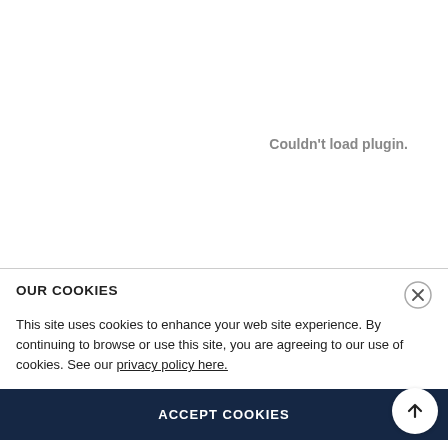Couldn't load plugin.
OUR COOKIES
This site uses cookies to enhance your web site experience. By continuing to browse or use this site, you are agreeing to our use of cookies. See our privacy policy here.
ACCEPT COOKIES